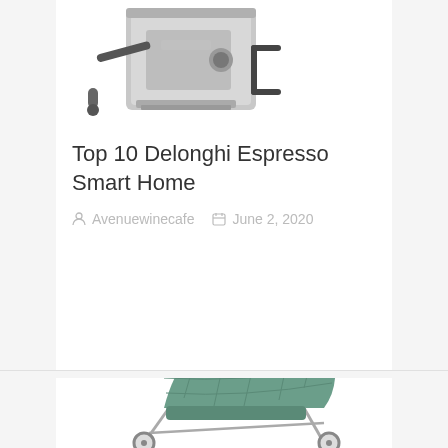[Figure (photo): Espresso machine photo (Delonghi style, silver/grey) shown from upper portion]
Top 10 Delonghi Espresso Smart Home
Avenuewinecafe   June 2, 2020
[Figure (photo): Baby stroller with green quilted hood and brown leather handle, silver frame]